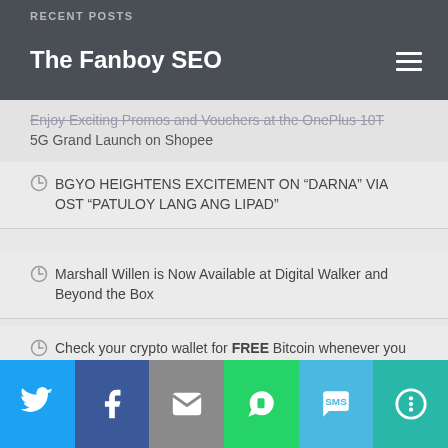RECENT POSTS | The Fanboy SEO
Enjoy Exciting Promos and Vouchers at the OnePlus 10T 5G Grand Launch on Shopee
BGYO HEIGHTENS EXCITEMENT ON "DARNA" VIA OST "PATULOY LANG ANG LIPAD"
Marshall Willen is Now Available at Digital Walker and Beyond the Box
Check your crypto wallet for FREE Bitcoin whenever you pay with Maya!
Jo Koy's Easter Sunday is first Hollywood-produced Pinoy film highlighting culture and actors (Opens August 31)